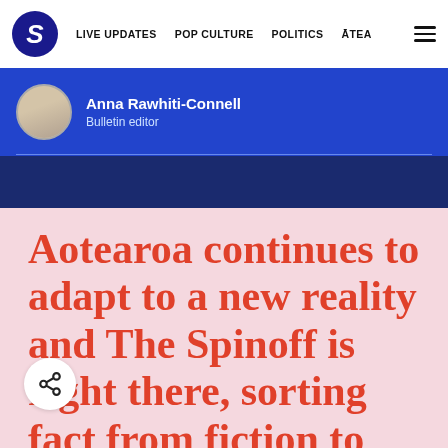S  LIVE UPDATES  POP CULTURE  POLITICS  ĀTEA  ☰
Anna Rawhiti-Connell
Bulletin editor
Aotearoa continues to adapt to a new reality and The Spinoff is right there, sorting fact from fiction to bring you the latest updates and biggest stories. Help us continue this coverage, and so much more, by supporting The